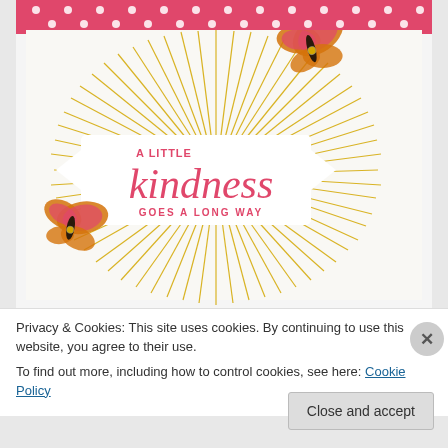[Figure (photo): A handmade greeting card with pink polka-dot washi tape at top, a golden sunburst pattern radiating from center, a white banner label reading 'A LITTLE kindness GOES A LONG WAY' in pink script/print, and two orange-and-pink butterfly embellishments — one upper right, one lower left.]
Privacy & Cookies: This site uses cookies. By continuing to use this website, you agree to their use.
To find out more, including how to control cookies, see here: Cookie Policy
Close and accept